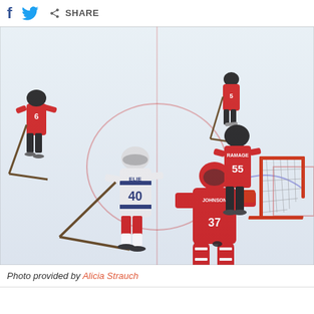f [facebook] [twitter] SHARE
[Figure (photo): Ice hockey action photo showing player #40 ELIE in white uniform approaching goal, goalie #37 JOHNSON in red defending, defender #55 RAMAGE in red nearby, and other players in red uniforms on the rink. Photo taken from behind/side angle showing the goal net on the right.]
Photo provided by Alicia Strauch